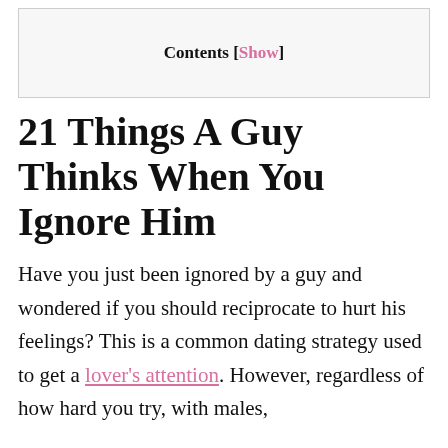Contents [Show]
21 Things A Guy Thinks When You Ignore Him
Have you just been ignored by a guy and wondered if you should reciprocate to hurt his feelings? This is a common dating strategy used to get a lover’s attention. However, regardless of how hard you try, with males,